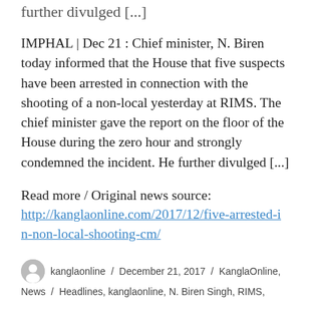further divulged [...]
IMPHAL | Dec 21 : Chief minister, N. Biren today informed that the House that five suspects have been arrested in connection with the shooting of a non-local yesterday at RIMS. The chief minister gave the report on the floor of the House during the zero hour and strongly condemned the incident. He further divulged [...]
Read more / Original news source:
http://kanglaonline.com/2017/12/five-arrested-in-non-local-shooting-cm/
kanglaonline / December 21, 2017 / KanglaOnline, News / Headlines, kanglaonline, N. Biren Singh, RIMS,